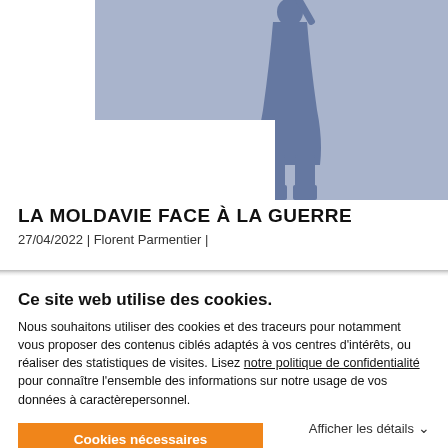[Figure (photo): A blue-toned statue/figure illustration on a grey-blue background, partially covered by a white block in bottom-left]
LA MOLDAVIE FACE À LA GUERRE
27/04/2022 | Florent Parmentier |
Ce site web utilise des cookies.
Nous souhaitons utiliser des cookies et des traceurs pour notamment vous proposer des contenus ciblés adaptés à vos centres d'intérêts, ou réaliser des statistiques de visites. Lisez notre politique de confidentialité pour connaître l'ensemble des informations sur notre usage de vos données à caractèrepersonnel.
Cookies nécessaires uniquement
Autoriser tous les cookies
Afficher les détails